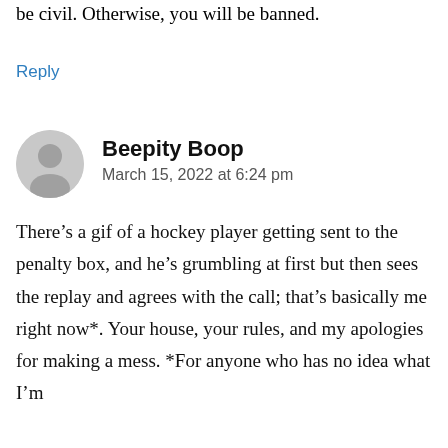be civil. Otherwise, you will be banned.
Reply
Beepity Boop
March 15, 2022 at 6:24 pm
There’s a gif of a hockey player getting sent to the penalty box, and he’s grumbling at first but then sees the replay and agrees with the call; that’s basically me right now*. Your house, your rules, and my apologies for making a mess. *For anyone who has no idea what I’m